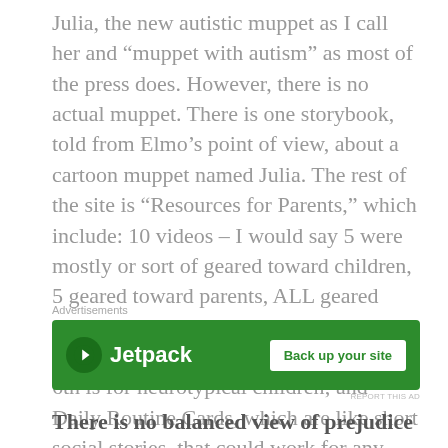Julia, the new autistic muppet as I call her and “muppet with autism” as most of the press does. However, there is no actual muppet. There is one storybook, told from Elmo’s point of view, about a cartoon muppet named Julia. The rest of the site is “Resources for Parents,” which include: 10 videos – I would say 5 were mostly or sort of geared toward children, 5 geared toward parents, ALL geared toward neurotypical viewers; some short articles – 5 out of 6 are for parents, the 6th is for neurotypical children; and Daily Routine Cards, which are like short social stories, that could work for any child.
[Figure (other): Jetpack advertisement banner with green background, Jetpack logo and icon on left, and 'Back up your site' button on right]
There is no balanced view of prejudice